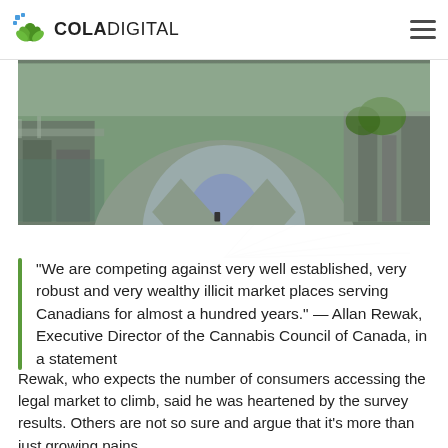COLADIGITAL
[Figure (photo): A man in a grey blazer and patterned shirt, shown from neck down, with a cityscape and bridge visible in the background.]
“We are competing against very well established, very robust and very wealthy illicit market places serving Canadians for almost a hundred years.” — Allan Rewak, Executive Director of the Cannabis Council of Canada, in a statement
Rewak, who expects the number of consumers accessing the legal market to climb, said he was heartened by the survey results. Others are not so sure and argue that it’s more than just growing pains.